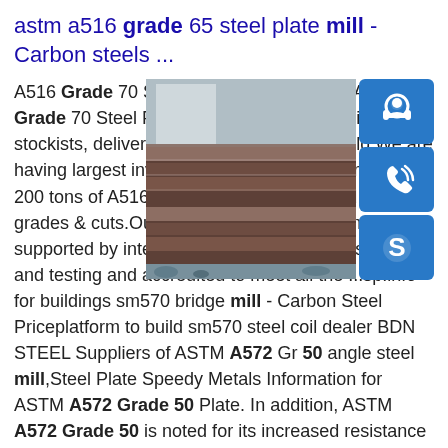astm a516 grade 65 steel plate mill - Carbon steels ...
[Figure (photo): Stack of steel plates photographed outdoors, showing layered brown/rusty metal sheets]
[Figure (infographic): Three blue icon buttons: customer service headset icon, phone/call icon, and Skype logo icon]
A516 Grade 70 Steel Plate . Bozhong is a A516 Grade 70 Steel Plate manufacturers, suppliers and stockists, delivering to the whole of the world.We are having largest inventory & ready stock of around 200 tons of A516 Grade 70 Steel Plate in d size, grades & cuts.Our manufacturing program is supported by intensive in house product inspection and testing and accredited to meet all the ...sp.info for buildings sm570 bridge mill - Carbon Steel Priceplatform to build sm570 steel coil dealer BDN STEEL Suppliers of ASTM A572 Gr 50 angle steel mill,Steel Plate Speedy Metals Information for ASTM A572 Grade 50 Plate. In addition, ASTM A572 Grade 50 is noted for its increased resistance